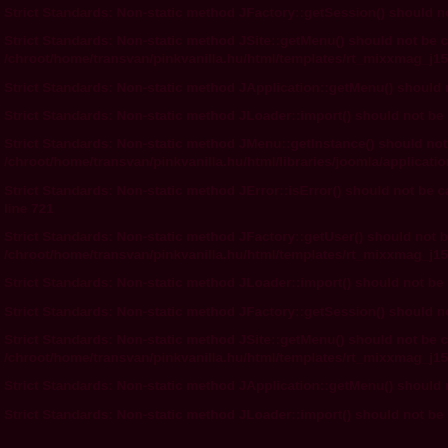Strict Standards: Non-static method JFactory::getSession() should not be called s...
Strict Standards: Non-static method JSite::getMenu() should not be called statically... /chroot/home/transvan/pinkvanilla.hu/html/templates/rt_mixxmag_j15/html/mo...
Strict Standards: Non-static method JApplication::getMenu() should not be called s...
Strict Standards: Non-static method JLoader::import() should not be called statically...
Strict Standards: Non-static method JMenu::getInstance() should not be called stat... /chroot/home/transvan/pinkvanilla.hu/html/libraries/joomla/application/applica...
Strict Standards: Non-static method JError::isError() should not be called statically... line 721
Strict Standards: Non-static method JFactory::getUser() should not be called statically... /chroot/home/transvan/pinkvanilla.hu/html/templates/rt_mixxmag_j15/html/mo...
Strict Standards: Non-static method JLoader::import() should not be called statically...
Strict Standards: Non-static method JFactory::getSession() should not be called s...
Strict Standards: Non-static method JSite::getMenu() should not be called statically... /chroot/home/transvan/pinkvanilla.hu/html/templates/rt_mixxmag_j15/html/mo...
Strict Standards: Non-static method JApplication::getMenu() should not be called s...
Strict Standards: Non-static method JLoader::import() should not be called statically...